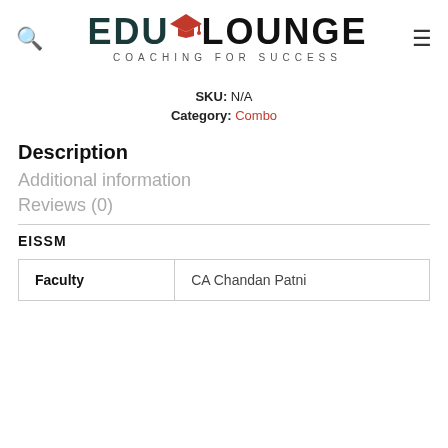[Figure (logo): EduLounge logo with graduation cap icon and tagline COACHING FOR SUCCESS]
SKU: N/A
Category: Combo
Description
Additional information
Reviews (0)
EISSM
| Faculty | CA Chandan Patni |
| --- | --- |
| Faculty | CA Chandan Patni |